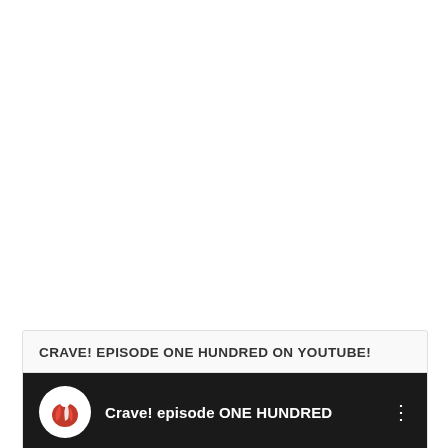CRAVE! EPISODE ONE HUNDRED ON YOUTUBE!
[Figure (screenshot): YouTube video thumbnail/card showing a dark background with a circular white logo on the left containing a red and white graphic, followed by bold white text reading 'Crave! episode ONE HUNDRED' and a vertical dots menu icon on the right.]